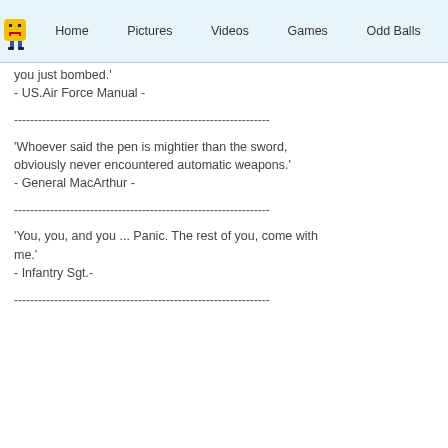Home  Pictures  Videos  Games  Odd Balls
you just bombed.'
- US.Air Force Manual -
----------------------------------------------------------------
'Whoever said the pen is mightier than the sword, obviously never encountered automatic weapons.'
- General MacArthur -
----------------------------------------------------------------
'You, you, and you ... Panic. The rest of you, come with me.'
- Infantry Sgt.-
----------------------------------------------------------------